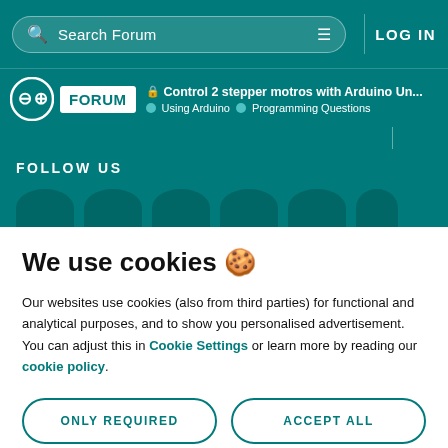Search Forum  LOG IN
Control 2 stepper motros with Arduino Un... | Using Arduino | Programming Questions
FOLLOW US
We use cookies 🍪
Our websites use cookies (also from third parties) for functional and analytical purposes, and to show you personalised advertisement. You can adjust this in Cookie Settings or learn more by reading our cookie policy.
ONLY REQUIRED
ACCEPT ALL